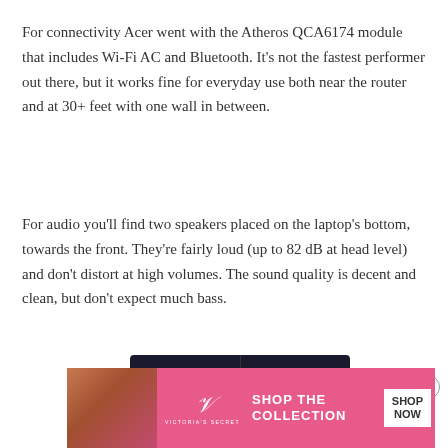For connectivity Acer went with the Atheros QCA6174 module that includes Wi-Fi AC and Bluetooth. It's not the fastest performer out there, but it works fine for everyday use both near the router and at 30+ feet with one wall in between.
For audio you'll find two speakers placed on the laptop's bottom, towards the front. They're fairly loud (up to 82 dB at head level) and don't distort at high volumes. The sound quality is decent and clean, but don't expect much bass.
[Figure (screenshot): Speed test result showing DOWNLOAD 21.96 Mbps and UPLOAD 74.35 Mbps on a dark background]
[Figure (photo): Victoria's Secret advertisement banner with model photo, VS logo, 'SHOP THE COLLECTION' text, and 'SHOP NOW' button]